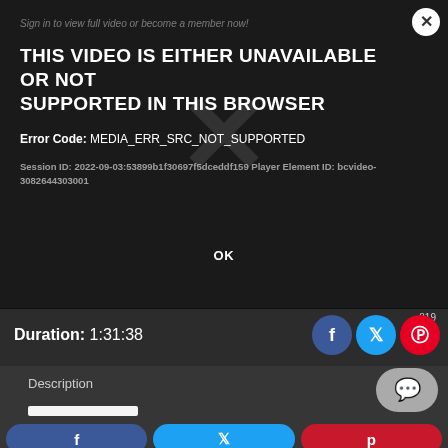[Figure (screenshot): Video player error overlay on dark background showing error message]
Sign in to view full video or become a member now!
THIS VIDEO IS EITHER UNAVAILABLE OR NOT SUPPORTED IN THIS BROWSER
Error Code: MEDIA_ERR_SRC_NOT_SUPPORTED
Session ID: 2022-09-03:53899b1f30697f5dceddf159 Player Element ID: bcvideo-3082644303001
OK
.819
Duration: 1:31:38
Description
f
y
p